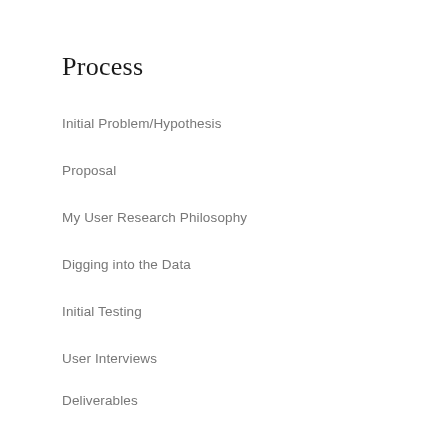Process
Initial Problem/Hypothesis
Proposal
My User Research Philosophy
Digging into the Data
Initial Testing
User Interviews
Deliverables
User Personas
Experience Map